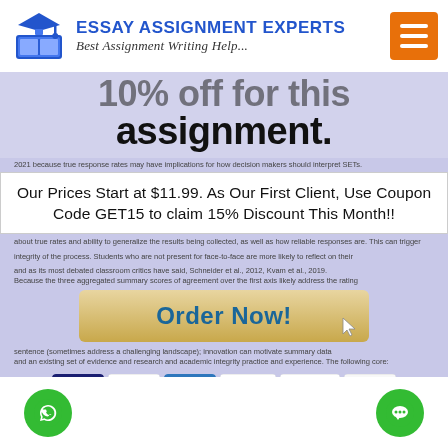[Figure (logo): Essay Assignment Experts logo with graduation cap icon, blue text title and italic subtitle 'Best Assignment Writing Help...']
[Figure (infographic): Promotional overlay showing large bold text about discount on assignment, blended over lavender background with body text]
Our Prices Start at $11.99. As Our First Client, Use Coupon Code GET15 to claim 15% Discount This Month!!
[Figure (infographic): Order Now! button overlay with golden/beige gradient background and teal bold text, with cursor icon]
[Figure (infographic): Payment icons: VISA, MasterCard, American Express, Discover, PayPal, 100% Secure IOTA Encryption]
[Figure (infographic): Footer with green phone/WhatsApp button on left and green chat bubble button on right]